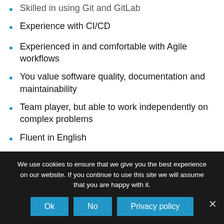Experience with CI/CD
Experienced in and comfortable with Agile workflows
You value software quality, documentation and maintainability
Team player, but able to work independently on complex problems
Fluent in English
Dutch citizenship or a European working permit is required to apply
We use cookies to ensure that we give you the best experience on our website. If you continue to use this site we will assume that you are happy with it.